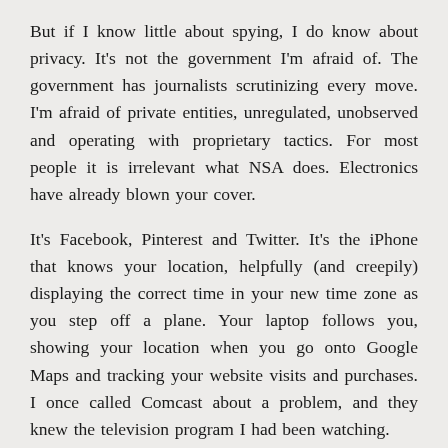But if I know little about spying, I do know about privacy. It's not the government I'm afraid of. The government has journalists scrutinizing every move. I'm afraid of private entities, unregulated, unobserved and operating with proprietary tactics. For most people it is irrelevant what NSA does. Electronics have already blown your cover.
It's Facebook, Pinterest and Twitter. It's the iPhone that knows your location, helpfully (and creepily) displaying the correct time in your new time zone as you step off a plane. Your laptop follows you, showing your location when you go onto Google Maps and tracking your website visits and purchases. I once called Comcast about a problem, and they knew the television program I had been watching.
When you can get along without the NSA, it all...